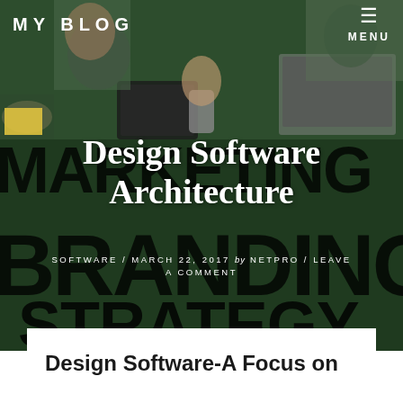MY BLOG
[Figure (photo): Hero image of a blog post page with people working around a green table with tablets and laptops, overlaid with large text MARKETING, BRANDING, STRATEGY in dark semi-transparent letters on a green-tinted background.]
Design Software Architecture
SOFTWARE / MARCH 22, 2017 by NETPRO / LEAVE A COMMENT
Design Software-A Focus on Capabilities